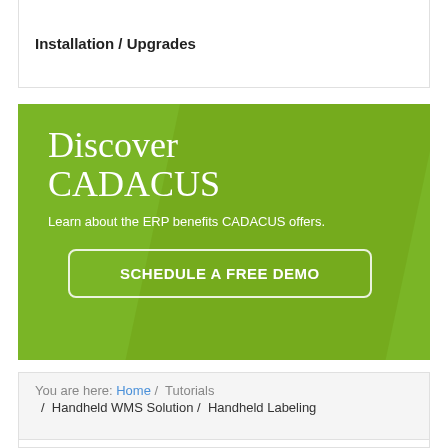Installation / Upgrades
[Figure (infographic): Green promotional banner with large serif text 'Discover CADACUS', subtitle 'Learn about the ERP benefits CADACUS offers.', and a button labeled 'SCHEDULE A FREE DEMO']
You are here: Home / Tutorials / Handheld WMS Solution / Handheld Labeling